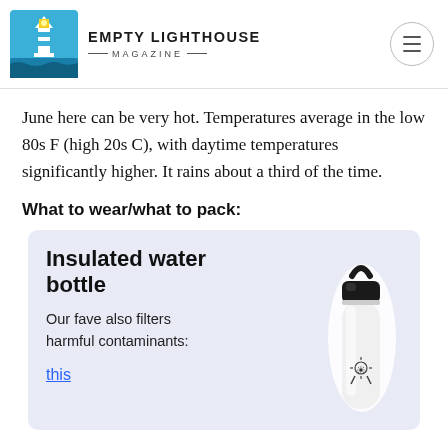EMPTY LIGHTHOUSE MAGAZINE
June here can be very hot. Temperatures average in the low 80s F (high 20s C), with daytime temperatures significantly higher. It rains about a third of the time.
What to wear/what to pack:
[Figure (illustration): Product card with light blue/lavender background showing an insulated water bottle (white Hydro Flask style) on the right side with a black cap and handle. Left side has bold text 'Insulated water bottle', description 'Our fave also filters harmful contaminants:', and a blue underlined link 'this'.]